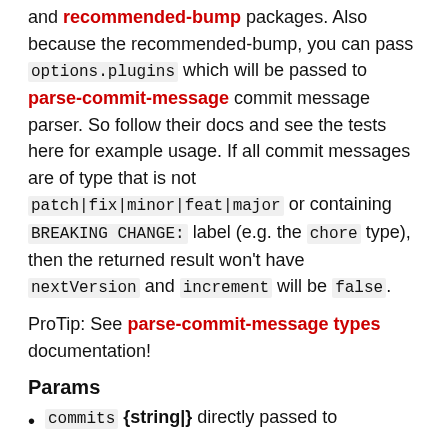and recommended-bump packages. Also because the recommended-bump, you can pass options.plugins which will be passed to parse-commit-message commit message parser. So follow their docs and see the tests here for example usage. If all commit messages are of type that is not patch|fix|minor|feat|major or containing BREAKING CHANGE: label (e.g. the chore type), then the returned result won't have nextVersion and increment will be false.
ProTip: See parse-commit-message types documentation!
Params
commits {string|} directly passed to